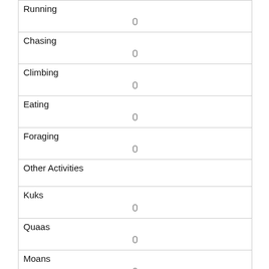| Running | 0 |
| Chasing | 0 |
| Climbing | 0 |
| Eating | 0 |
| Foraging | 0 |
| Other Activities |  |
| Kuks | 0 |
| Quaas | 0 |
| Moans | 0 |
| Tail flags | 1 |